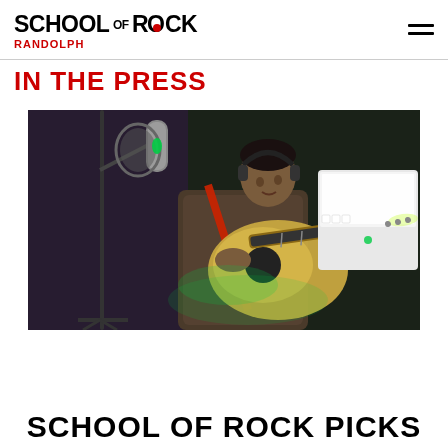SCHOOL OF ROCK RANDOLPH
IN THE PRESS
[Figure (photo): A young musician playing an electric guitar in a recording studio with a microphone stand, green ambient lighting, and a white piano in the background.]
SCHOOL OF ROCK PICKS